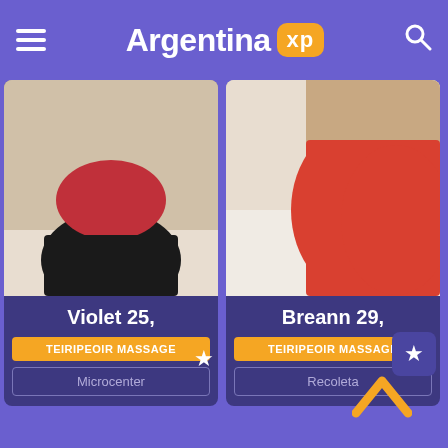Argentina XP
[Figure (photo): Profile card for Violet 25, massage service in Microcenter. Shows a woman in black skirt and red top seated.]
Violet 25,
TEIRIPEOIR MASSAGE
Microcenter
[Figure (photo): Profile card for Breann 29, massage service in Recoleta. Shows a woman in red dress.]
Breann 29,
TEIRIPEOIR MASSAGE
Recoleta